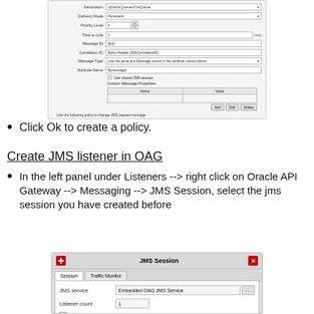[Figure (screenshot): Screenshot of a JMS policy configuration dialog showing fields: Destination, Delivery Mode (Persistent), Priority Level, Time to Live, Message ID, Correlation ID, Message Type, Attribute Name, Use shared JMS session checkbox, Custom Message Properties table with Name/Value columns and Add/Edit/Delete buttons, and a Policy field at the bottom.]
Click Ok to create a policy.
Create JMS listener in OAG
In the left panel under Listeners --> right click on Oracle API Gateway --> Messaging --> JMS Session, select the jms session you have created before
[Figure (screenshot): Screenshot of JMS Session dialog with Session and Traffic Monitor tabs. Content shows: JMS service field with 'Embedded OAG JMS Service' and browse button, Listener count field with value '1', and Allow Duplicates checkbox.]